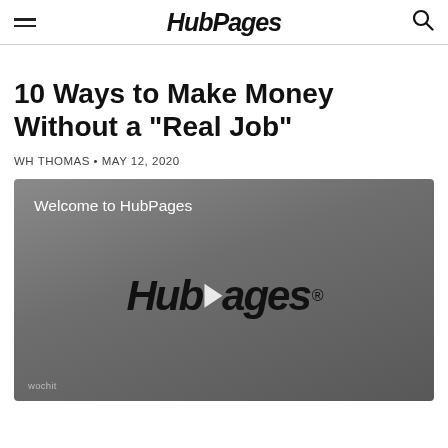HubPages
10 Ways to Make Money Without a "Real Job"
WH THOMAS • MAY 12, 2020
[Figure (screenshot): Video thumbnail showing 'Welcome to HubPages' text and the HubPages logo with a play button overlay. Wochit branding visible in bottom left.]